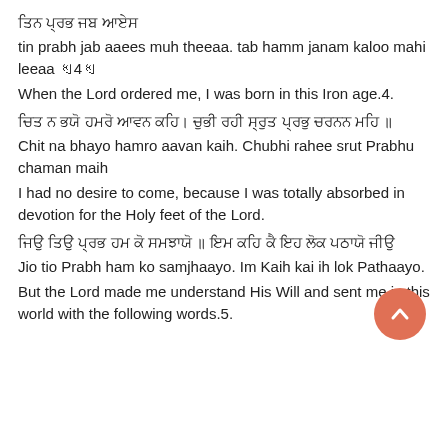ਤਿਨ ਪ੍ਰਭ ਜਬ ਆਏਸ
tin prabh jab aaees muh theeaa. tab hamm janam kaloo mahi leeaa ॥4॥
When the Lord ordered me, I was born in this Iron age.4.
ਚਿਤ ਨ ਭਯੋ ਹਮਰੋ ਆਵਨ ਕਹਿ। ਚੁਭੀ ਰਹੀ ਸ੍ਰੁਤ ਪ੍ਰਭੁ ਚਰਨਨ ਮਹਿ ॥
Chit na bhayo hamro aavan kaih. Chubhi rahee srut Prabhu chaman maih
I had no desire to come, because I was totally absorbed in devotion for the Holy feet of the Lord.
ਜਿਉ ਤਿਉ ਪ੍ਰਭ ਹਮ ਕੋ ਸਮਝਾਯੋ ॥ ਇਮ ਕਹਿ ਕੈ ਇਹ ਲੋਕ ਪਠਾਯੋ ਜੀਉ
Jio tio Prabh ham ko samjhaayo. Im Kaih kai ih lok Pathaayo.
But the Lord made me understand His Will and sent me in this world with the following words.5.